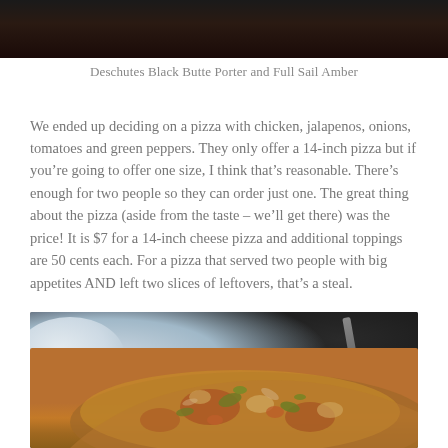[Figure (photo): Top portion of a photo showing dark background with food/drinks, partially cropped at the top of the page]
Deschutes Black Butte Porter and Full Sail Amber
We ended up deciding on a pizza with chicken, jalapenos, onions, tomatoes and green peppers. They only offer a 14-inch pizza but if you’re going to offer one size, I think that’s reasonable. There’s enough for two people so they can order just one. The great thing about the pizza (aside from the taste – we’ll get there) was the price! It is $7 for a 14-inch cheese pizza and additional toppings are 50 cents each. For a pizza that served two people with big appetites AND left two slices of leftovers, that’s a steal.
[Figure (photo): Photo of a pizza with chicken, jalapenos, onions, tomatoes and green peppers on a dark table with a white plate and fork visible]